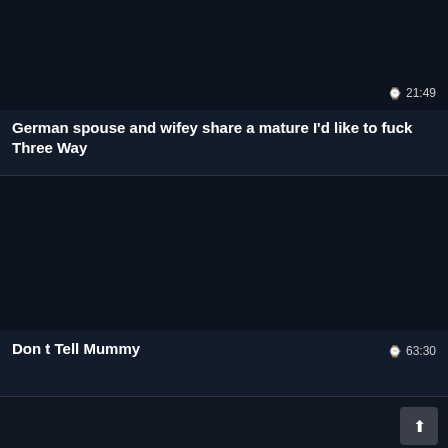[Figure (screenshot): Dark video thumbnail area for first card]
21:49
German spouse and wifey share a mature I'd like to fuck Three Way
[Figure (screenshot): Dark video thumbnail area for second card]
63:30
Don t Tell Mummy
[Figure (screenshot): Dark area for third card with scroll-to-top button]